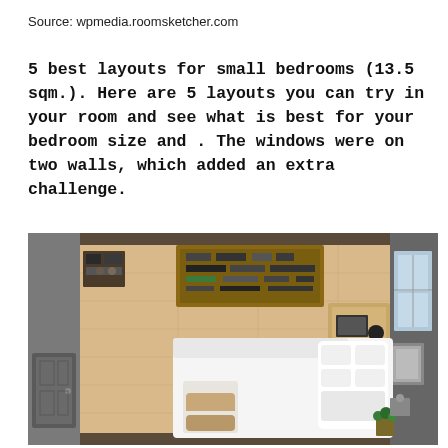Source: wpmedia.roomsketcher.com
5 best layouts for small bedrooms (13.5 sqm.). Here are 5 layouts you can try in your room and see what is best for your bedroom size and . The windows were on two walls, which added an extra challenge.
[Figure (engineering-diagram): Top-down floor plan view of a small bedroom (13.5 sqm) showing furniture arrangement: a bed with white bedding positioned centrally, a desk with laptop on the right wall, shelving/storage unit at the top center, a door on the left wall, and a window on the right wall. The room has light wood flooring and dark brown walls.]